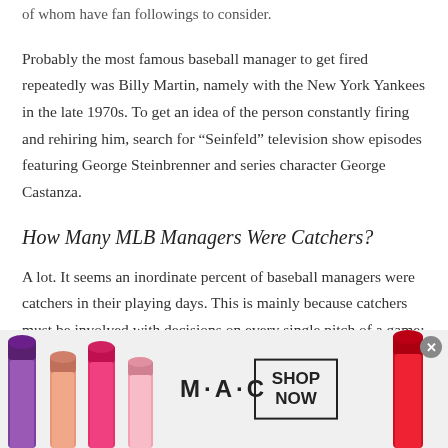of whom have fan followings to consider.
Probably the most famous baseball manager to get fired repeatedly was Billy Martin, namely with the New York Yankees in the late 1970s. To get an idea of the person constantly firing and rehiring him, search for “Seinfeld” television show episodes featuring George Steinbrenner and series character George Castanza.
How Many MLB Managers Were Catchers?
A lot. It seems an inordinate percent of baseball managers were catchers in their playing days. This is mainly because catchers must be involved with decisions on every single pitch of a game; and good catchers are a conduit from the
[Figure (screenshot): Advertisement banner for MAC cosmetics showing lipsticks on left and right sides, MAC logo in center, and a SHOP NOW button in a black border box. A close/dismiss button (x) appears in top right.]